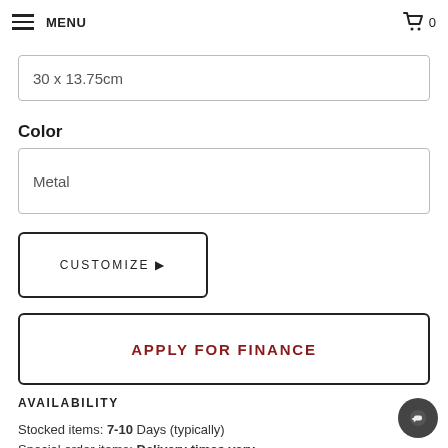MENU 0
30 x 13.75cm
Color
Metal
CUSTOMIZE ▶
APPLY FOR FINANCE
AVAILABILITY
Stocked items: 7-10 Days (typically)
Special order items: Delivery times vary